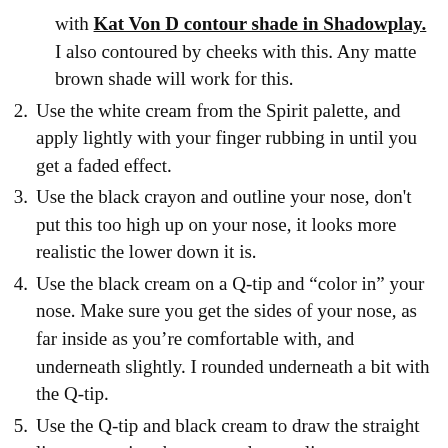(continuation) with Kat Von D contour shade in Shadowplay. I also contoured by cheeks with this. Any matte brown shade will work for this.
2. Use the white cream from the Spirit palette, and apply lightly with your finger rubbing in until you get a faded effect.
3. Use the black crayon and outline your nose, don't put this too high up on your nose, it looks more realistic the lower down it is.
4. Use the black cream on a Q-tip and “color in” your nose. Make sure you get the sides of your nose, as far inside as you’re comfortable with, and underneath slightly. I rounded underneath a bit with the Q-tip.
5. Use the Q-tip and black cream to draw the straight line connecting the nose and upper lip.
6. For the whisker spots I used my NYX liner and dotted lightly. If you miss up, wait for it to dry and remove with a Q-tip, it will come right off! You can